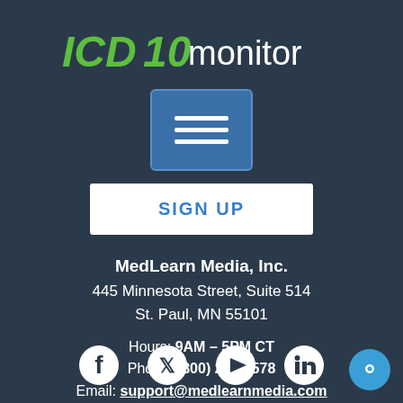[Figure (logo): ICD10monitor logo with green ICD10 text and white monitor text]
[Figure (illustration): Blue menu/hamburger button icon with three white horizontal lines]
[Figure (illustration): SIGN UP button, white rectangle with blue text]
MedLearn Media, Inc.
445 Minnesota Street, Suite 514
St. Paul, MN 55101
Hours: 9AM – 5PM CT
Phone: (800) 252-1578
Email: support@medlearnmedia.com
[Figure (illustration): Social media icons row: Facebook, Twitter, YouTube, LinkedIn. Chat bubble icon bottom right.]